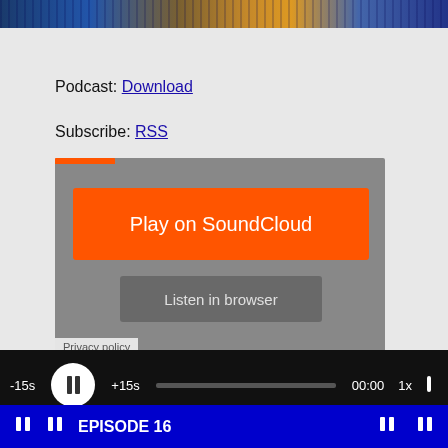[Figure (photo): Crowd photo banner at top of page with blue and orange tones]
Podcast: Download
Subscribe: RSS
[Figure (screenshot): SoundCloud embedded audio player widget with orange Play on SoundCloud button and Listen in browser button on grey background]
Privacy policy
[Figure (screenshot): Audio player controls bar: -15s, play/pause button, +15s, progress bar, 00:00, 1x speed, volume icon on black background]
EPISODE 16